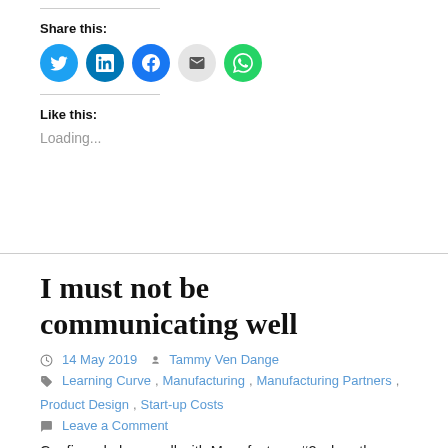Share this:
[Figure (infographic): Row of five circular social sharing buttons: Twitter (blue), LinkedIn (dark blue), Facebook (blue), Email (light grey), WhatsApp (green)]
Like this:
Loading...
I must not be communicating well
14 May 2019   Tammy Ven Dange
Learning Curve, Manufacturing, Manufacturing Partners, Product Design, Start-up Costs
Leave a Comment
Confirmed phone call with Manufacturer #2 when the